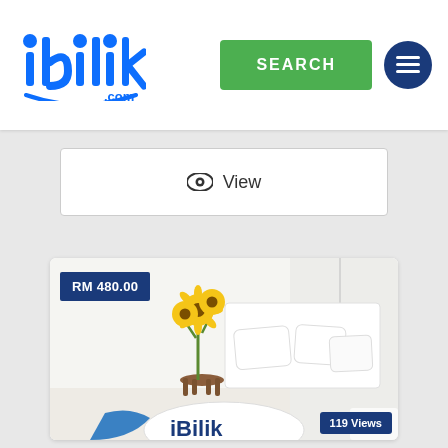[Figure (logo): iBilik.com logo — stylized blue text 'ibilik' with a smile arc and '.com' in blue]
SEARCH
[Figure (other): Hamburger menu icon on dark blue circular button]
👁 View
[Figure (photo): Room listing photo showing a bright white bedroom with yellow sunflowers, white pillows, and iBilik branding pillow. Price badge shows RM 480.00 and view count shows 119 Views.]